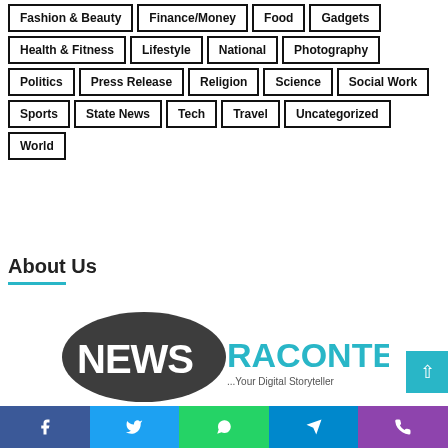Fashion & Beauty
Finance/Money
Food
Gadgets
Health & Fitness
Lifestyle
National
Photography
Politics
Press Release
Religion
Science
Social Work
Sports
State News
Tech
Travel
Uncategorized
World
About Us
[Figure (logo): NewsRaconteur logo - dark oval with NEWS text and RACONTEUR in teal, tagline ...Your Digital Storyteller]
Facebook | Twitter | WhatsApp | Telegram | Phone